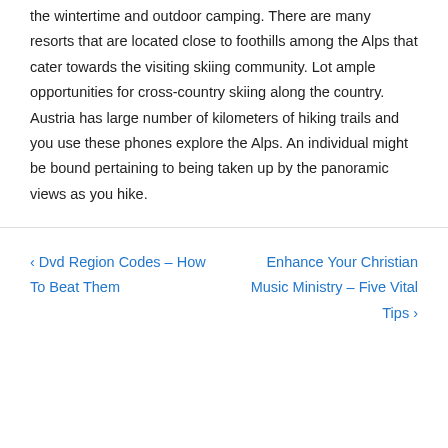the wintertime and outdoor camping. There are many resorts that are located close to foothills among the Alps that cater towards the visiting skiing community. Lot ample opportunities for cross-country skiing along the country. Austria has large number of kilometers of hiking trails and you use these phones explore the Alps. An individual might be bound pertaining to being taken up by the panoramic views as you hike.
‹ Dvd Region Codes – How To Beat Them  Enhance Your Christian Music Ministry – Five Vital Tips ›